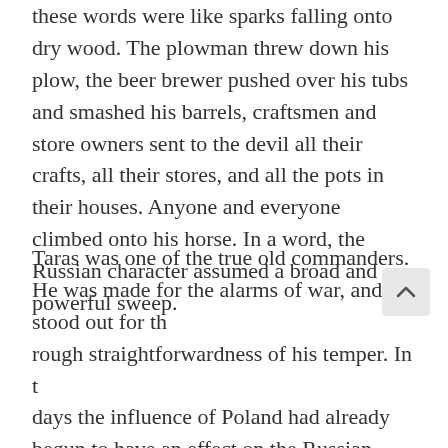these words were like sparks falling onto dry wood. The plowman threw down his plow, the beer brewer pushed over his tubs and smashed his barrels, craftsmen and store owners sent to the devil all their crafts, all their stores, and all the pots in their houses. Anyone and everyone climbed onto his horse. In a word, the Russian character assumed a broad and powerful sweep.
Taras was one of the true old commanders. He was made for the alarms of war, and stood out for the rough straightforwardness of his temper. In those days the influence of Poland had already begun to have an effect on the Russian nobility. Many had adopted Polish customs, flaunting great pomp, keeping astonishing numbers of servants, falcons, huntsmen, feasts, and palaces. Taras did not crave